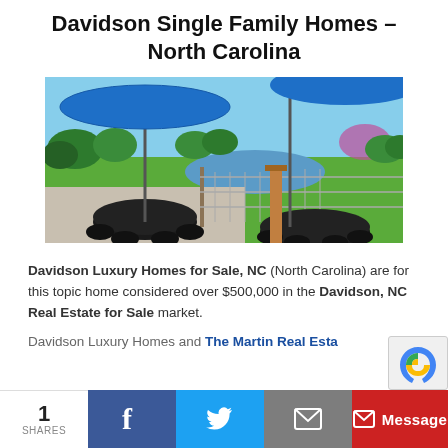Davidson Single Family Homes – North Carolina
[Figure (photo): Outdoor patio area with black wrought-iron tables and chairs under large blue umbrellas, overlooking a pond and green golf course landscape.]
Davidson Luxury Homes for Sale, NC (North Carolina) are for this topic home considered over $500,000 in the Davidson, NC Real Estate for Sale market.
Davidson Luxury Homes and The Martin Real Esta...
1 SHARES  [Facebook] [Twitter] [Email]  Message